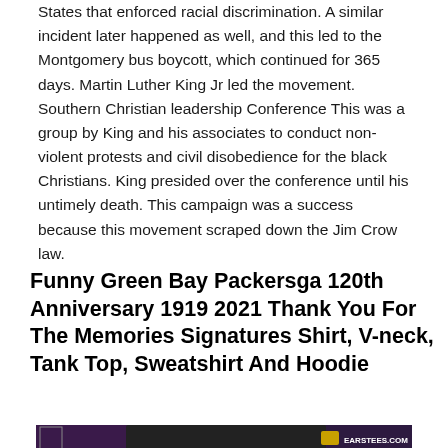States that enforced racial discrimination. A similar incident later happened as well, and this led to the Montgomery bus boycott, which continued for 365 days. Martin Luther King Jr led the movement. Southern Christian leadership Conference This was a group by King and his associates to conduct non-violent protests and civil disobedience for the black Christians. King presided over the conference until his untimely death. This campaign was a success because this movement scraped down the Jim Crow law.
Funny Green Bay Packersga 120th Anniversary 1919 2021 Thank You For The Memories Signatures Shirt, V-neck, Tank Top, Sweatshirt And Hoodie
[Figure (photo): Product photo of a dark hoodie sweatshirt on a purple/galaxy background with small shirt style icons on the left and EARSTEES.COM logo on the right]